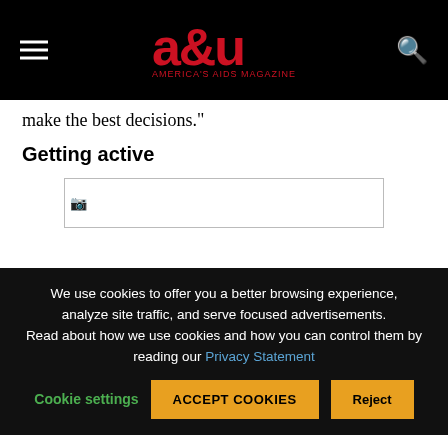a&u AMERICA'S AIDS MAGAZINE
make the best decisions."
Getting active
[Figure (photo): Image placeholder with broken image icon]
We use cookies to offer you a better browsing experience, analyze site traffic, and serve focused advertisements. Read about how we use cookies and how you can control them by reading our Privacy Statement
Cookie settings   ACCEPT COOKIES   Reject